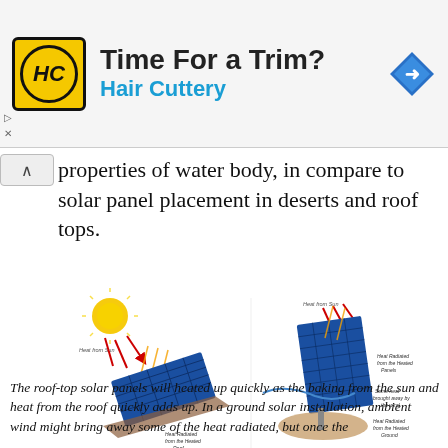[Figure (other): Hair Cuttery advertisement banner with logo, 'Time For a Trim?' headline, 'Hair Cuttery' subtitle in blue, and a blue diamond navigation icon]
properties of water body, in compare to solar panel placement in deserts and roof tops.
[Figure (illustration): Side-by-side diagram comparing Roof-top Solar Panels (left) and Ground Solar Panels (right), showing heat from sun, heat radiated from heated roof/panels/ground, and some heat brought away by wind. Labels include 'Heat from Sun', 'Heat Radiated from the Heated Roof', 'Roof-top Solar Panels', 'Heat Radiated from the Heated Panels', 'Some heat brought away by the wind', 'Heat Radiated from the Heated Ground', 'Ground Solar Panels'.]
The roof-top solar panels will heated up quickly as the baking from the sun and heat from the roof quickly adds up. In a ground solar installation, ambient wind might bring away some of the heat radiated, but once the